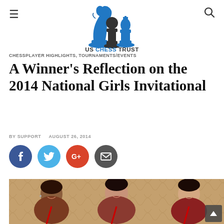US CHESS TRUST — navigation header with logo, hamburger menu, search icon
CHESSPLAYER HIGHLIGHTS, TOURNAMENTS/EVENTS
A Winner's Reflection on the 2014 National Girls Invitational
BY SUPPORT   AUGUST 26, 2014
[Figure (photo): Social sharing buttons: Facebook (blue circle with f), Twitter (light blue circle with bird), Google+ (red circle with G+), Email (dark gray circle with envelope icon)]
[Figure (photo): Photo of three young women smiling, standing in front of a patterned brown/gold backdrop, wearing red lanyards. This appears to be at a chess tournament event.]